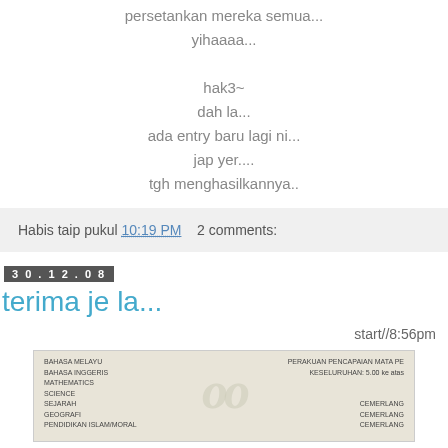persetankan mereka semua...
yihaaaa...

hak3~
dah la...
ada entry baru lagi ni...
jap yer....
tgh menghasilkannya..
Habis taip pukul 10:19 PM   2 comments:
30.12.08
terima je la...
start//8:56pm
[Figure (photo): A scanned document showing what appears to be an academic results slip with subject names and grades listed]